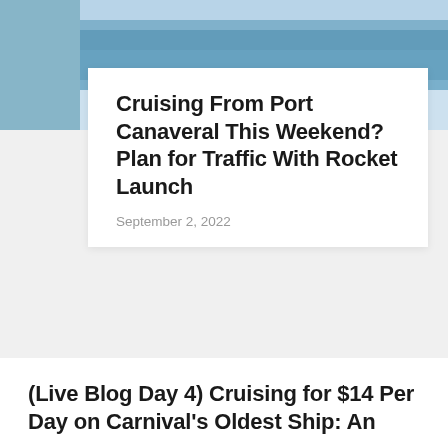[Figure (photo): Hero image of a cruise ship or port, partially visible at the top of the page with blue sky and building on the right]
Cruising From Port Canaveral This Weekend? Plan for Traffic With Rocket Launch
September 2, 2022
(Live Blog Day 4) Cruising for $14 Per Day on Carnival's Oldest Ship: An